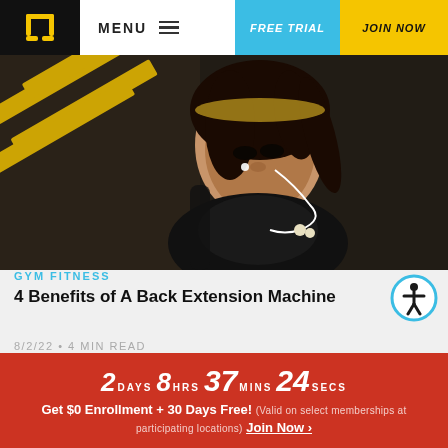MENU | FREE TRIAL | JOIN NOW
[Figure (photo): A woman with braided hair and earbuds working out on a gym machine, with yellow diagonal stripes in the background]
GYM FITNESS
4 Benefits of A Back Extension Machine
8/2/22 • 4 MIN READ
[Figure (photo): Partial view of gym equipment and a person working out]
2 DAYS 8 HRS 37 MINS 24 SECS
Get $0 Enrollment + 30 Days Free! (Valid on select memberships at participating locations) Join Now >